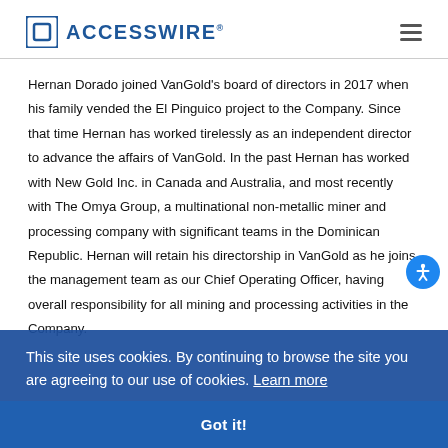ACCESSWIRE®
Hernan Dorado joined VanGold's board of directors in 2017 when his family vended the El Pinguico project to the Company. Since that time Hernan has worked tirelessly as an independent director to advance the affairs of VanGold. In the past Hernan has worked with New Gold Inc. in Canada and Australia, and most recently with The Omya Group, a multinational non-metallic miner and processing company with significant teams in [the Dominican Republic. Hernan will retain his directorship in VanGold as he joins the management team as our Chief Operating Officer, having overall responsibility for all mining and processing activities in the Company.
This site uses cookies. By continuing to browse the site you are agreeing to our use of cookies. Learn more
Got it!